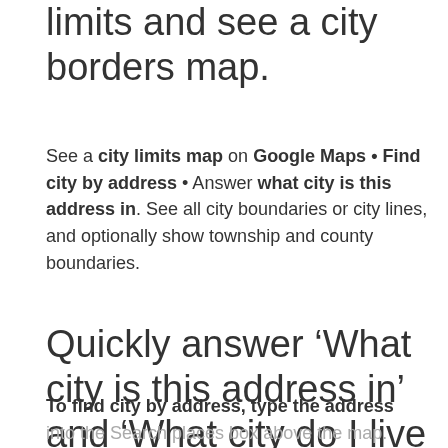limits and see a city borders map.
See a city limits map on Google Maps • Find city by address • Answer what city is this address in. See all city boundaries or city lines, and optionally show township and county boundaries.
Quickly answer ‘What city is this address in’ and ‘What city do I live in’ anywhere in the U.S.
To find city by address, type the address
into the Search places box above the map.